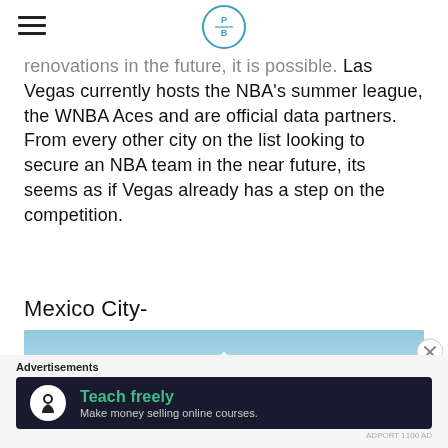PB (logo)
renovations in the future, it is possible.  Las Vegas currently hosts the NBA's summer league, the WNBA Aces and are official data partners.  From every other city on the list looking to secure an NBA team in the near future, its seems as if Vegas already has a step on the competition.
Mexico City-
[Figure (photo): Mountain peak with snow cap against light blue sky, partially visible — appears to be a volcano (likely Popocatépetl near Mexico City)]
Advertisements
[Figure (other): Advertisement banner: dark background with white circle icon showing a person/tree silhouette. Text reads 'Teach freely' in green and 'Make money selling online courses.' in light grey.]